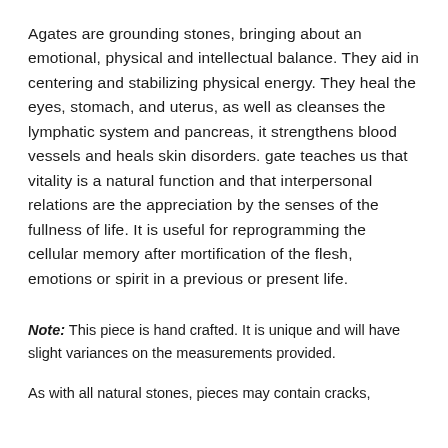Agates are grounding stones, bringing about an emotional, physical and intellectual balance. They aid in centering and stabilizing physical energy. They heal the eyes, stomach, and uterus, as well as cleanses the lymphatic system and pancreas, it strengthens blood vessels and heals skin disorders. gate teaches us that vitality is a natural function and that interpersonal relations are the appreciation by the senses of the fullness of life. It is useful for reprogramming the cellular memory after mortification of the flesh, emotions or spirit in a previous or present life.
Note: This piece is hand crafted. It is unique and will have slight variances on the measurements provided.
As with all natural stones, pieces may contain cracks,